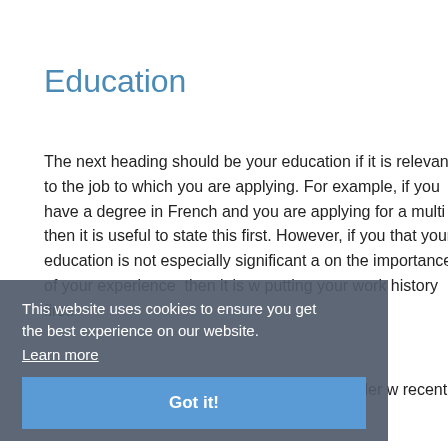Education
The next heading should be your education if it is relevant to the job to which you are applying. For example, if you have a degree in French and you are applying for a multilingual role then it is useful to state this first. However, if you feel that your education is not especially significant and want to focus on the importance of your experience then it is worth putting your work history first.
[Figure (screenshot): Cookie consent banner overlay with text 'This website uses cookies to ensure you get the best experience on our website.' with a Learn more link and a blue Got it! button]
Your education should be listed in reverse order with your most recent education received first. It is unnecessary t